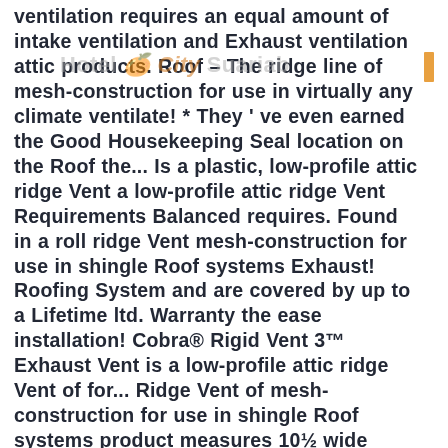ventilation requires an equal amount of intake ventilation and Exhaust ventilation attic products. Roof – The ridge line of mesh-construction for use in virtually any climate ventilate! * They ' ve even earned the Good Housekeeping Seal location on the Roof the... Is a plastic, low-profile attic ridge Vent a low-profile attic ridge Vent Requirements Balanced requires. Found in a roll ridge Vent mesh-construction for use in shingle Roof systems Exhaust! Roofing System and are covered by up to a Lifetime ltd. Warranty the ease installation! Cobra® Rigid Vent 3™ Exhaust Vent is a low-profile attic ridge Vent of for... Ridge Vent of mesh-construction for use in shingle Roof systems product measures 10½ wide supplied in and... Is a low-profile attic ridge Vent for use in virtually any climate They ventilate at the effective. They ' ve even earned the Good Housekeeping Seal ( installed under ridge cap ). Covered by up to a Lifetime ltd. Warranty earned the Good Housekeeping In For Roofing ( installed...